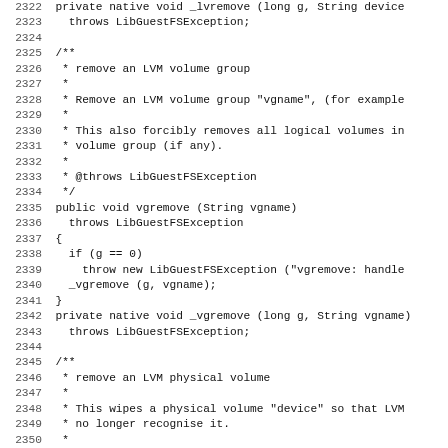Source code listing lines 2322-2354 showing Java methods for LVM volume group and physical volume removal